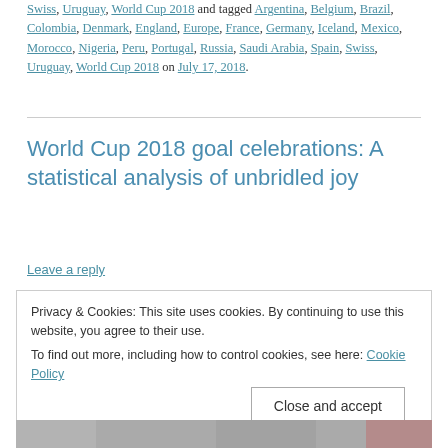Swiss, Uruguay, World Cup 2018 and tagged Argentina, Belgium, Brazil, Colombia, Denmark, England, Europe, France, Germany, Iceland, Mexico, Morocco, Nigeria, Peru, Portugal, Russia, Saudi Arabia, Spain, Swiss, Uruguay, World Cup 2018 on July 17, 2018.
World Cup 2018 goal celebrations: A statistical analysis of unbridled joy
Leave a reply
Privacy & Cookies: This site uses cookies. By continuing to use this website, you agree to their use. To find out more, including how to control cookies, see here: Cookie Policy
[Figure (photo): Partial photo strip at bottom of page showing what appears to be football/soccer players celebrating]